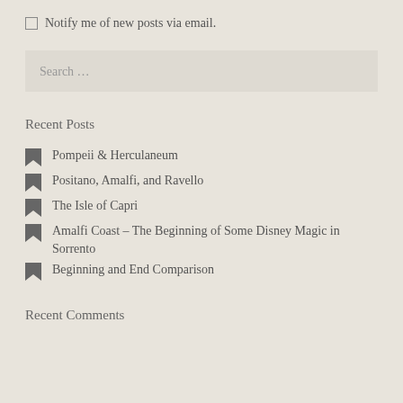Notify me of new posts via email.
Search ...
Recent Posts
Pompeii & Herculaneum
Positano, Amalfi, and Ravello
The Isle of Capri
Amalfi Coast – The Beginning of Some Disney Magic in Sorrento
Beginning and End Comparison
Recent Comments